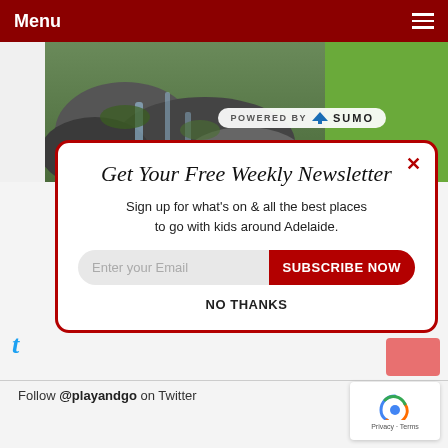Menu
[Figure (photo): Outdoor photo of rocks, water, and grass/greenery]
POWERED BY SUMO
Get Your Free Weekly Newsletter
Sign up for what's on & all the best places to go with kids around Adelaide.
Enter your Email  SUBSCRIBE NOW
NO THANKS
Follow @playandgo on Twitter